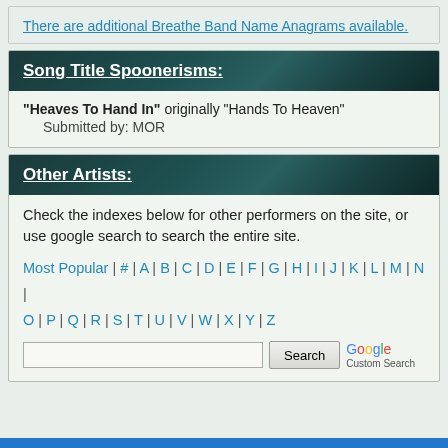There are additional Breathe Band Name Anagrams available.
Song Title Spoonerisms:
"Heaves To Hand In" originally "Hands To Heaven"
    Submitted by: MOR
Other Artists:
Check the indexes below for other performers on the site, or use google search to search the entire site.
Most Popular | # | A | B | C | D | E | F | G | H | I | J | K | L | M | N | O | P | Q | R | S | T | U | V | W | X | Y | Z